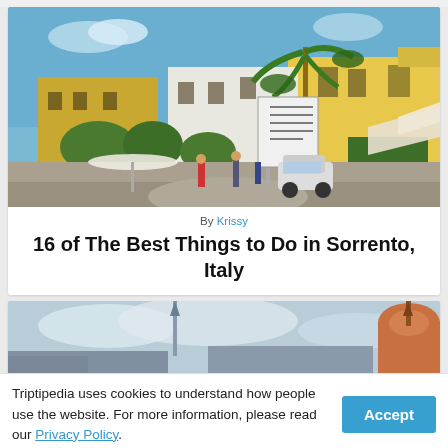[Figure (photo): Street scene in Sorrento, Italy showing a public piazza with yellow buildings, palm trees, green hedges, outdoor cafe umbrellas, and people walking]
By Krissy
16 of The Best Things to Do in Sorrento, Italy
[Figure (photo): Partial view of a building with a terracotta dome and spire in Sorrento, Italy against a cloudy sky]
Triptipedia uses cookies to understand how people use the website. For more information, please read our Privacy Policy.
Accept